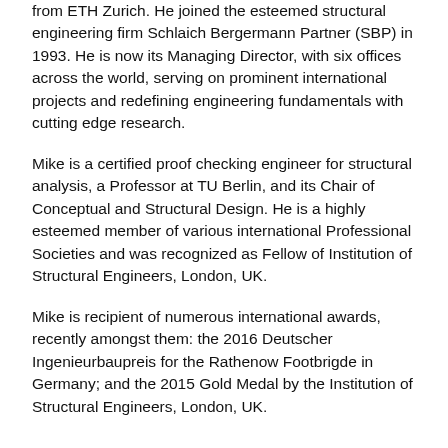from ETH Zurich. He joined the esteemed structural engineering firm Schlaich Bergermann Partner (SBP) in 1993. He is now its Managing Director, with six offices across the world, serving on prominent international projects and redefining engineering fundamentals with cutting edge research.
Mike is a certified proof checking engineer for structural analysis, a Professor at TU Berlin, and its Chair of Conceptual and Structural Design. He is a highly esteemed member of various international Professional Societies and was recognized as Fellow of Institution of Structural Engineers, London, UK.
Mike is recipient of numerous international awards, recently amongst them: the 2016 Deutscher Ingenieurbaupreis for the Rathenow Footbrigde in Germany; and the 2015 Gold Medal by the Institution of Structural Engineers, London, UK.